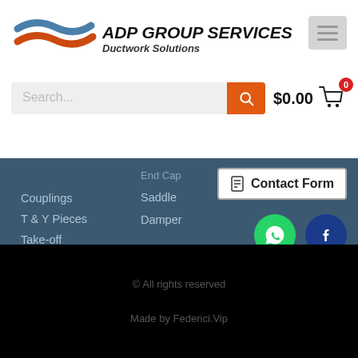[Figure (logo): ADP Group Services Ductwork Solutions logo with wave/swoosh in blue and orange]
Search...
$0.00
Couplings
T & Y Pieces
Take-off
End Cap
Saddle
Damper
Contact Form
© All rights reserved
Made by Federici.Vip